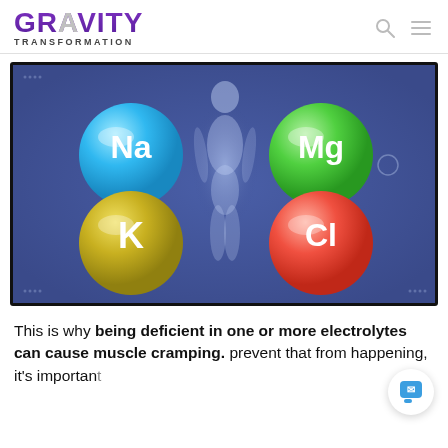GRAVITY TRANSFORMATION
[Figure (illustration): Medical/health infographic illustration on a blue background showing a glowing human body silhouette surrounded by four mineral element icons: Na (sodium) in cyan/blue circle top-left, Mg (magnesium) in green circle top-right, K (potassium) in yellow-green circle bottom-left, Cl (chloride) in red/coral circle bottom-right. There is also a small circular UI element to the right of the Mg circle.]
This is why being deficient in one or more electrolytes can cause muscle cramping. prevent that from happening, it's important to